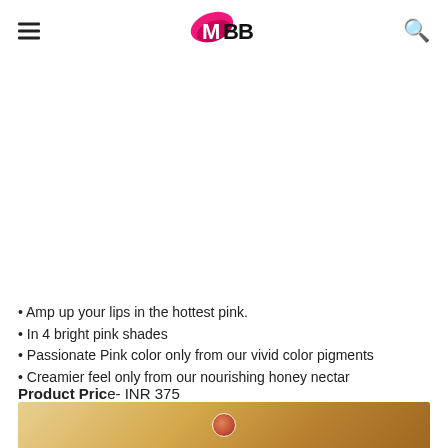IMBB
Amp up your lips in the hottest pink.
In 4 bright pink shades
Passionate Pink color only from our vivid color pigments
Creamier feel only from our nourishing honey nectar
Product Price- INR 375
[Figure (photo): Bottom portion of a product photo showing golden/honey colored background with a circular element, partially visible at the bottom of the page.]